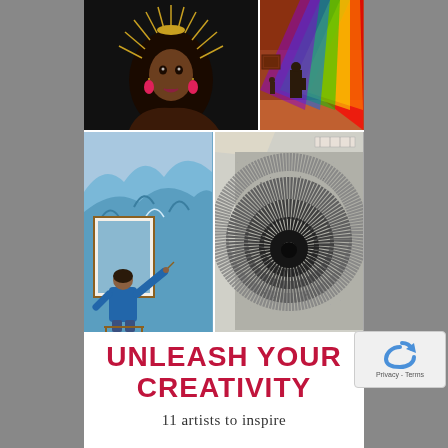[Figure (photo): Portrait of a young Black woman with elaborate gold crown headpiece and pink earrings, against dark background]
[Figure (photo): Museum gallery with colorful rainbow light installation, silhouette of a person viewing the art]
[Figure (photo): Artist in blue shirt painting a large blue glacier/ice wall mural on a canvas]
[Figure (photo): Black and white spiral/vortex art installation made of thousands of small objects creating a dark hole effect]
UNLEASH YOUR CREATIVITY
11 artists to inspire